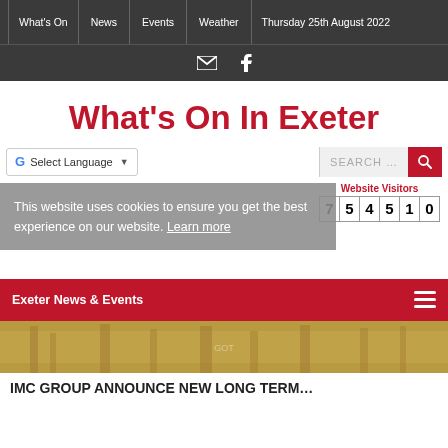What's On | News | Events | Weather | Thursday 25th August 2022
What's On In Exeter
Select Language
SEARCH ...
Website Visitors 754510
This website uses cookies to ensure you get the best experience on our website. Learn more
Exeter News & Events
IMC GROUP ANNOUNCE NEW LONG TERM...